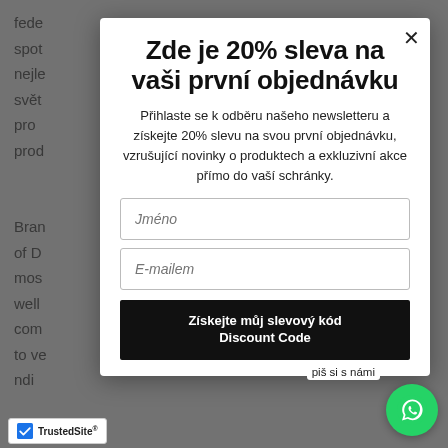fede... spot... nejle... svět... pro... prod...
Zde je 20% sleva na vaši první objednávku
Přihlaste se k odběru našeho newsletteru a získejte 20% slevu na svou první objednávku, vzrušující novinky o produktech a exkluzivní akce přímo do vaší schránky.
Jméno
E-mailem
Získejte můj slevový kód / Discount Code
piš si s námi
[Figure (logo): TrustedSite badge with checkmark]
[Figure (illustration): WhatsApp green circle icon]